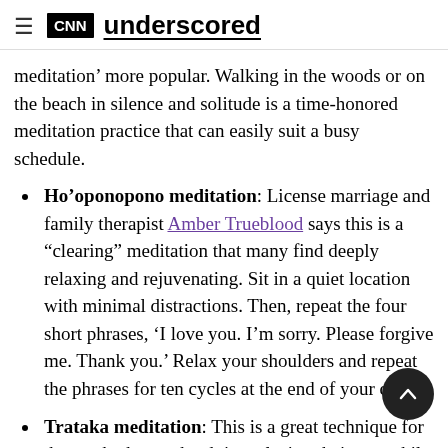CNN underscored
meditation’ more popular. Walking in the woods or on the beach in silence and solitude is a time-honored meditation practice that can easily suit a busy schedule.
Ho’oponopono meditation: License marriage and family therapist Amber Trueblood says this is a “clearing” meditation that many find deeply relaxing and rejuvenating. Sit in a quiet location with minimal distractions. Then, repeat the four short phrases, ‘I love you. I’m sorry. Please forgive me. Thank you.’ Relax your shoulders and repeat the phrases for ten cycles at the end of your day.
Trataka meditation: This is a great technique for those who have a hard time closing their eyes while meditating and want to practice on their own meditation journey.